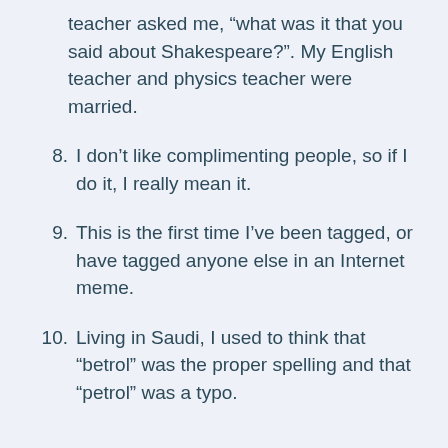teacher asked me, “what was it that you said about Shakespeare?”. My English teacher and physics teacher were married.
8. I don’t like complimenting people, so if I do it, I really mean it.
9. This is the first time I’ve been tagged, or have tagged anyone else in an Internet meme.
10. Living in Saudi, I used to think that “betrol” was the proper spelling and that “petrol” was a typo.